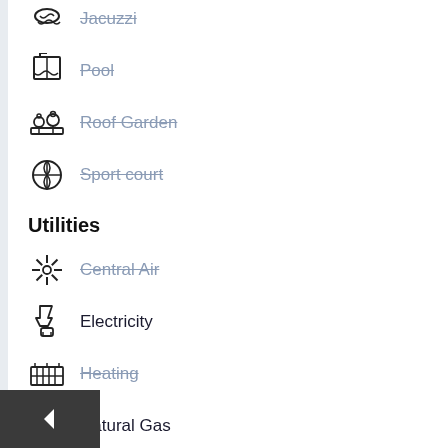Jacuzzi (strikethrough)
Pool (strikethrough)
Roof Garden (strikethrough)
Sport court (strikethrough)
Utilities
Central Air (strikethrough)
Electricity
Heating (strikethrough)
Natural Gas
Oven (strikethrough)
TV (strikethrough)
Ventilation (strikethrough)
Water
Other Features & Services